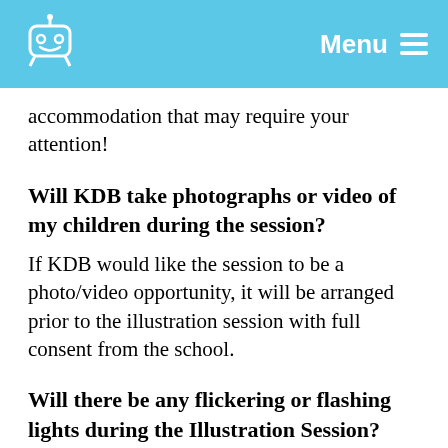Menu
accommodation that may require your attention!
Will KDB take photographs or video of my children during the session?
If KDB would like the session to be a photo/video opportunity, it will be arranged prior to the illustration session with full consent from the school.
Will there be any flickering or flashing lights during the Illustration Session?
No, KDB does not use any flash effects during the